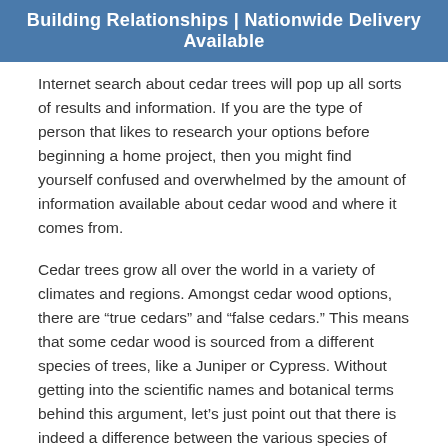Building Relationships | Nationwide Delivery Available
Internet search about cedar trees will pop up all sorts of results and information. If you are the type of person that likes to research your options before beginning a home project, then you might find yourself confused and overwhelmed by the amount of information available about cedar wood and where it comes from.
Cedar trees grow all over the world in a variety of climates and regions. Amongst cedar wood options, there are “true cedars” and “false cedars.” This means that some cedar wood is sourced from a different species of trees, like a Juniper or Cypress. Without getting into the scientific names and botanical terms behind this argument, let’s just point out that there is indeed a difference between the various species of cedar trees and different types of wood with the term cedar included in the name.